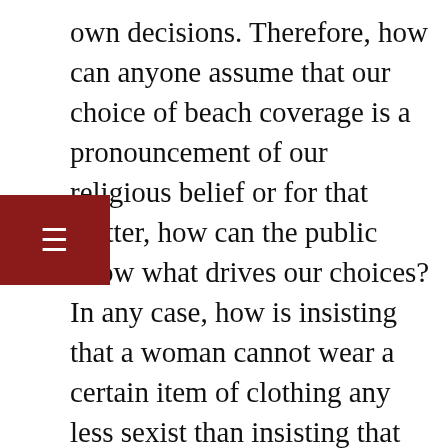own decisions. Therefore, how can anyone assume that our choice of beach coverage is a pronouncement of our religious belief or for that matter, how can the public know what drives our choices? In any case, how is insisting that a woman cannot wear a certain item of clothing any less sexist than insisting that she must wear one? In my view both are equally bad.

When armed police takes to a French beach to force a woman to disrobe, it makes you wonder what's more barbaric; a policeman threatening to fine/beat/jail a woman because she is under clothed or, a policeman resorting to force to make a woman take some clothes off. I cannot understand why women can't be left alone to